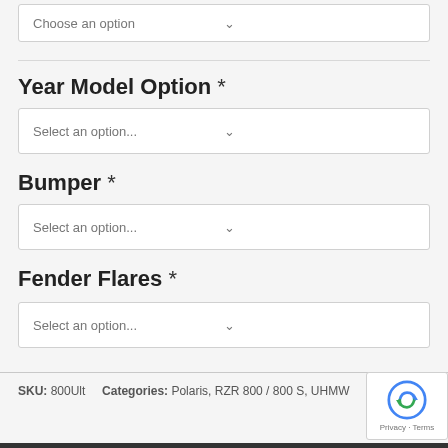Choose an option
Year Model Option *
Select an option...
Bumper *
Select an option...
Fender Flares *
Select an option...
SKU: 800Ult     Categories: Polaris, RZR 800 / 800 S, UHMW